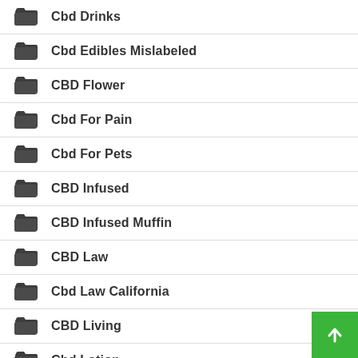Cbd Drinks
Cbd Edibles Mislabeled
CBD Flower
Cbd For Pain
Cbd For Pets
CBD Infused
CBD Infused Muffin
CBD Law
Cbd Law California
CBD Living
Cbd Lotion
Cbd Muffins